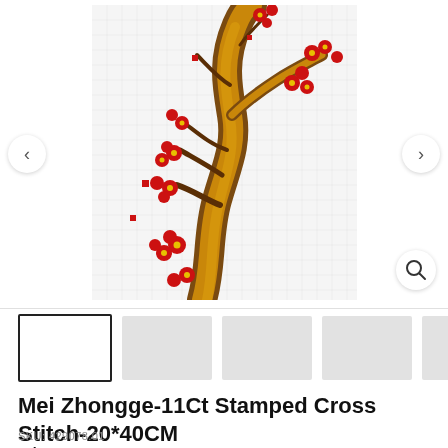[Figure (photo): Cross-stitch embroidery product image showing a cherry blossom (plum blossom) branch with red flowers on a golden-brown trunk against a white grid canvas background. Navigation arrows visible on left and right. Zoom/magnify icon in bottom right.]
[Figure (photo): Row of product thumbnail images for carousel navigation. First thumbnail is active (bordered), remaining thumbnails show as gray placeholder boxes.]
Mei Zhongge-11Ct Stamped Cross Stitch-20*40CM
SKU: 429078.01
Price